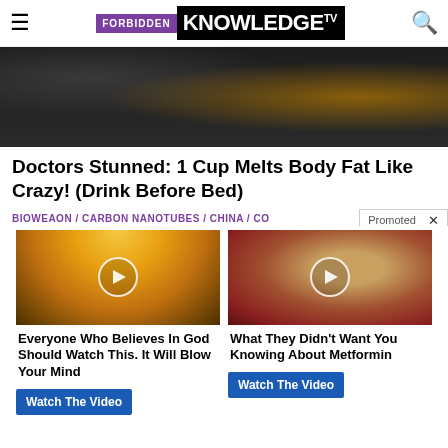FORBIDDEN KNOWLEDGE TV
[Figure (photo): Hero image showing drinks/beverages on a dark kitchen surface with orange juice bottle]
Doctors Stunned: 1 Cup Melts Body Fat Like Crazy! (Drink Before Bed)
BIOWEAON / CARBON NANOTUBES / CHINA / CO
[Figure (photo): Thumbnail of sky with clouds and light rays, with play button overlay]
Everyone Who Believes In God Should Watch This. It Will Blow Your Mind
Watch The Video
[Figure (photo): Thumbnail of medical/anatomical image showing organ, with play button overlay]
What They Didn't Want You Knowing About Metformin
Watch The Video